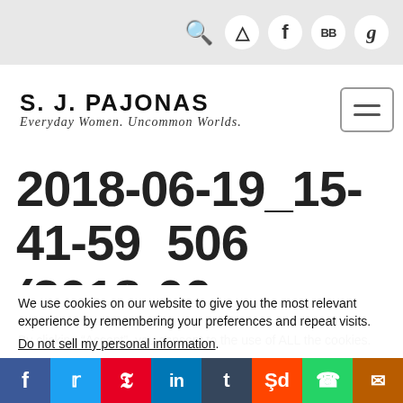[Figure (screenshot): Website navigation bar with search icon and social media icons (Instagram, Facebook, BB, Goodreads) on grey background]
[Figure (logo): S. J. Pajonas logo with tagline 'Everyday Women. Uncommon Worlds.' and hamburger menu button]
2018-06-19_15-41-59 506 (2018-06-
We use cookies on our website to give you the most relevant experience by remembering your preferences and repeat visits. By clicking “Accept”, you consent to the use of ALL the cookies. View our Privacy Policy
Do not sell my personal information.
[Figure (screenshot): Cookie settings buttons: 'Cookie Settings' (grey) and 'Accept' (green)]
[Figure (screenshot): Social media sharing bar with icons: Facebook, Twitter, Pinterest, LinkedIn, Tumblr, Reddit, WhatsApp, Email]